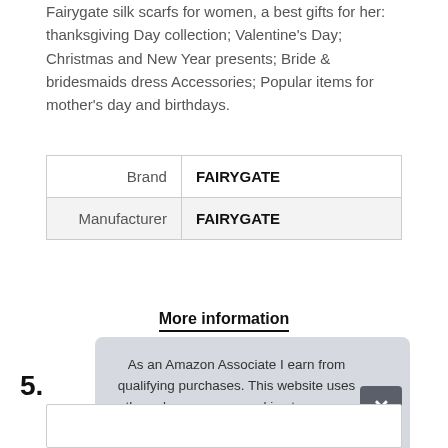Silk Scarfs for Women, SIZE: 70" X 30" — 180 CM X 38 CM. Fairygate silk scarfs for women, a best gifts for her: thanksgiving Day collection; Valentine's Day; Christmas and New Year presents; Bride & bridesmaids dress Accessories; Popular items for mother's day and birthdays.
| Brand | FAIRYGATE |
| Manufacturer | FAIRYGATE |
More information
5.
As an Amazon Associate I earn from qualifying purchases. This website uses the only necessary cookies to ensure you get the best experience on our website. More information